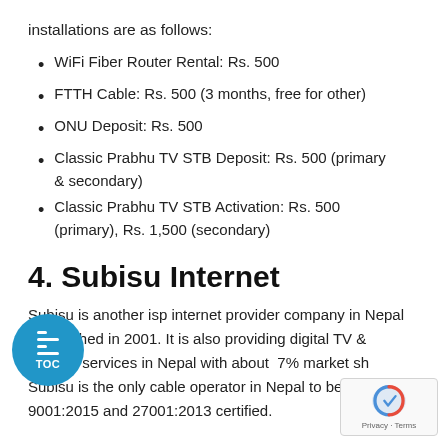installations are as follows:
WiFi Fiber Router Rental: Rs. 500
FTTH Cable: Rs. 500 (3 months, free for other)
ONU Deposit: Rs. 500
Classic Prabhu TV STB Deposit: Rs. 500 (primary & secondary)
Classic Prabhu TV STB Activation: Rs. 500 (primary), Rs. 1,500 (secondary)
4. Subisu Internet
Subisu is another isp internet provider company in Nepal established in 2001. It is also providing digital TV & internet services in Nepal with about 7% market share. Subisu is the only cable operator in Nepal to be ISO 9001:2015 and 27001:2013 certified.